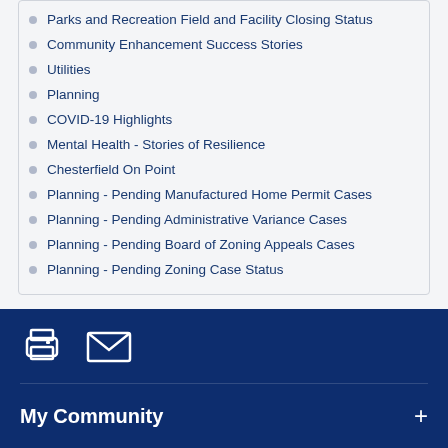Parks and Recreation Field and Facility Closing Status
Community Enhancement Success Stories
Utilities
Planning
COVID-19 Highlights
Mental Health - Stories of Resilience
Chesterfield On Point
Planning - Pending Manufactured Home Permit Cases
Planning - Pending Administrative Variance Cases
Planning - Pending Board of Zoning Appeals Cases
Planning - Pending Zoning Case Status
[Figure (infographic): Print icon and envelope/mail icon in white on dark blue background]
My Community
Services